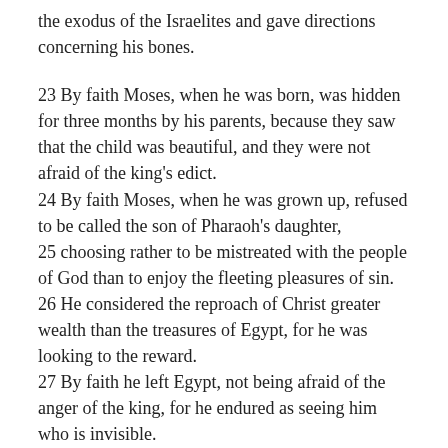the exodus of the Israelites and gave directions concerning his bones.
23 By faith Moses, when he was born, was hidden for three months by his parents, because they saw that the child was beautiful, and they were not afraid of the king's edict. 24 By faith Moses, when he was grown up, refused to be called the son of Pharaoh's daughter, 25 choosing rather to be mistreated with the people of God than to enjoy the fleeting pleasures of sin. 26 He considered the reproach of Christ greater wealth than the treasures of Egypt, for he was looking to the reward. 27 By faith he left Egypt, not being afraid of the anger of the king, for he endured as seeing him who is invisible. 28 By faith he kept the Passover and sprinkled the blood, so that the Destroyer of the firstborn might not touch them.
29 By faith the people crossed the Red Sea as on dry land, but the Egyptians, when they attempted to do the same,